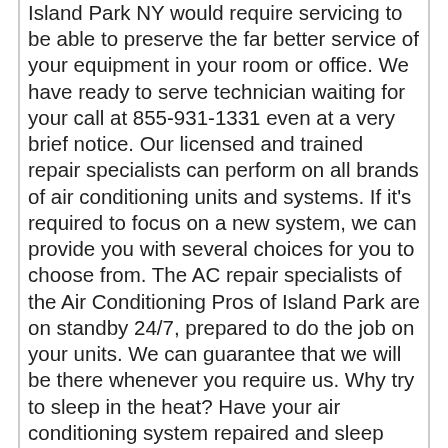Island Park NY would require servicing to be able to preserve the far better service of your equipment in your room or office. We have ready to serve technician waiting for your call at 855-931-1331 even at a very brief notice. Our licensed and trained repair specialists can perform on all brands of air conditioning units and systems. If it's required to focus on a new system, we can provide you with several choices for you to choose from. The AC repair specialists of the Air Conditioning Pros of Island Park are on standby 24/7, prepared to do the job on your units. We can guarantee that we will be there whenever you require us. Why try to sleep in the heat? Have your air conditioning system repaired and sleep without trouble by contacting us now.The restoration services in air-conditioning that we offer you are leading on the market. This is because of the attributes such as accountability, teamwork, ethics and integrity are utilized religiously. Fixes will be started out after a quotation is performed our AC repair experts in
CALL US NOW!